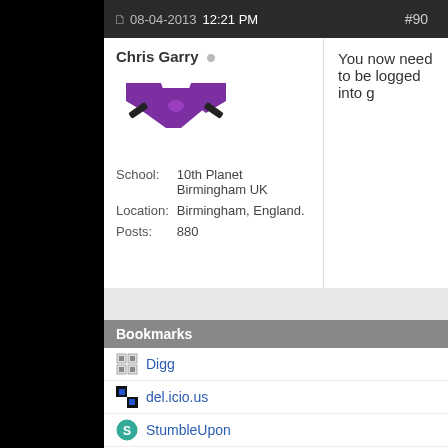08-04-2013 12:21 PM   #90
Chris Garry
[Figure (illustration): Purple martial arts belt icon (crossed belt, purple/black colors)]
| School: | 10th Planet Birmingham UK |
| Location: | Birmingham, England. |
| Posts: | 880 |
You now need to be logged into g
« Prev
Bookmarks
Digg
del.icio.us
StumbleUpon
Google